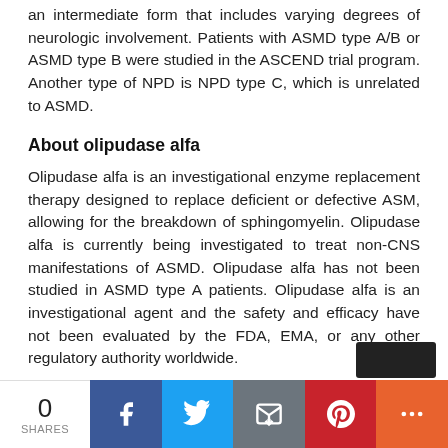an intermediate form that includes varying degrees of neurologic involvement. Patients with ASMD type A/B or ASMD type B were studied in the ASCEND trial program. Another type of NPD is NPD type C, which is unrelated to ASMD.
About olipudase alfa
Olipudase alfa is an investigational enzyme replacement therapy designed to replace deficient or defective ASM, allowing for the breakdown of sphingomyelin. Olipudase alfa is currently being investigated to treat non-CNS manifestations of ASMD. Olipudase alfa has not been studied in ASMD type A patients. Olipudase alfa is an investigational agent and the safety and efficacy have not been evaluated by the FDA, EMA, or any other regulatory authority worldwide.
0 SHARES | Facebook | Twitter | Email | Pinterest | More